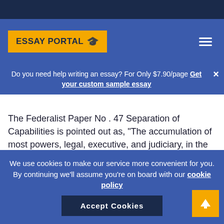ESSAY PORTAL
Do you need help writing an essay? For Only $7.90/page Get your custom sample essay
The Federalist Paper No . 47 Separation of Capabilities is pointed out as, “The accumulation of most powers, legal, executive, and judiciary, in the same hands… may justly be obvious the very definition of tyranny”. Free of charge government was another aspect which was decided by all authors with the Federalist. Free government
We use cookies to make our service more convenient for you. By continuing we’ll assume you’re on board with our cookie policy. Accept Cookies